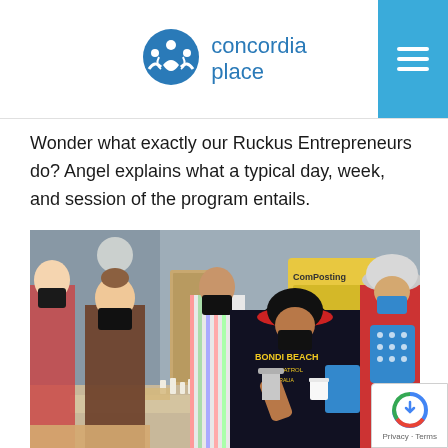concordia place
Wonder what exactly our Ruckus Entrepreneurs do? Angel explains what a typical day, week, and session of the program entails.
[Figure (photo): Several masked young people working at a table in an indoor space, handling small objects and materials. A person in a 'Bondi Beach' black t-shirt leans over the table. Others wear floral shirt and striped shirt. One person on the right holds a blue item and wears a Boston cap. A colorful sign is visible in the background.]